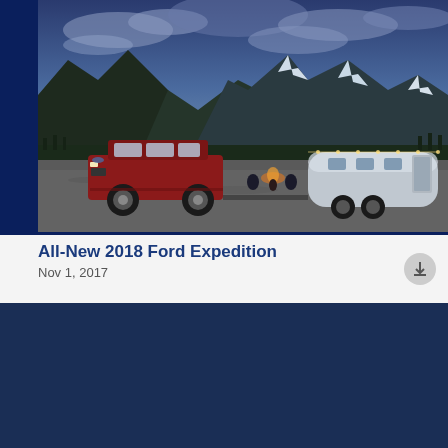[Figure (photo): A red Ford Expedition SUV parked on a gravel road with a silver Airstream trailer, mountains and dramatic cloudy sky in the background, campfire and people visible between the vehicles.]
All-New 2018 Ford Expedition
Nov 1, 2017
This website uses cookies to enhance user experience and to analyze performance and traffic on our website. We also share information about your use of our site with our social media, advertising, and analytics partners. Privacy Policy
Cookie Settings